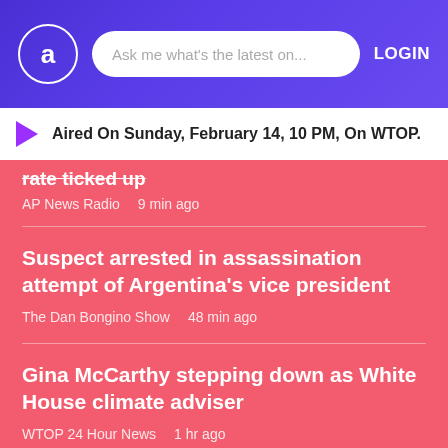a  Ask me what's the latest on...  LOGIN
Aired On Sunday, February 14, 10 PM, On WTOP.
rate ticked up
AP News Radio  9 min ago
Suspect arrested in assassination attempt of Argentina's vice president
The Dan Bongino Show  48 min ago
Gina McCarthy stepping down as White House climate adviser
WTOP 24 Hour News  1 hr ago
Beagles rescued from research facility find new homes